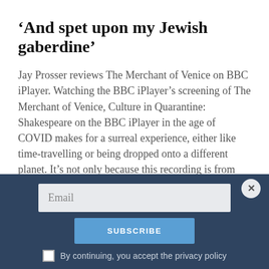‘And spet upon my Jewish gaberdine’
Jay Prosser reviews The Merchant of Venice on BBC iPlayer. Watching the BBC iPlayer’s screening of The Merchant of Venice, Culture in Quarantine: Shakespeare on the BBC iPlayer in the age of COVID makes for a surreal experience, either like time-travelling or being dropped onto a different planet. It’s not only because this recording is from 2015, of the Royal Shakespeare Company directed under Polly Findlay. Nor is [...]
Jay Prosser • JULY 27, 2020
Email
SUBSCRIBE
By continuing, you accept the privacy policy